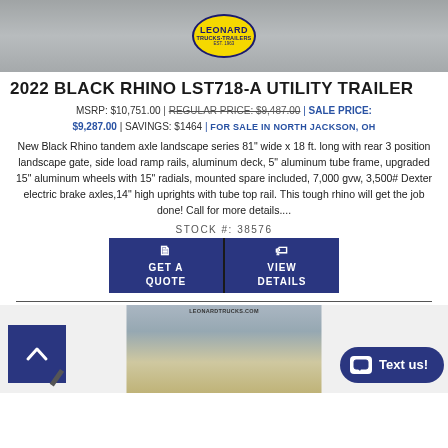[Figure (photo): Top photo of a utility trailer yard with Leonard Trucks & Trailers logo badge overlay]
2022 BLACK RHINO LST718-A UTILITY TRAILER
MSRP: $10,751.00 | REGULAR PRICE: $9,487.00 | SALE PRICE: $9,287.00 | SAVINGS: $1464 | FOR SALE IN NORTH JACKSON, OH
New Black Rhino tandem axle landscape series 81" wide x 18 ft. long with rear 3 position landscape gate, side load ramp rails, aluminum deck, 5" aluminum tube frame, upgraded 15" aluminum wheels with 15" radials, mounted spare included, 7,000 gvw, 3,500# Dexter electric brake axles,14" high uprights with tube top rail. This tough rhino will get the job done! Call for more details....
STOCK #: 38576
[Figure (screenshot): GET A QUOTE and VIEW DETAILS buttons in dark blue]
[Figure (photo): Bottom photo of a white flatbed utility trailer in a dealership lot, Leonard Trucks & Trailers branding visible]